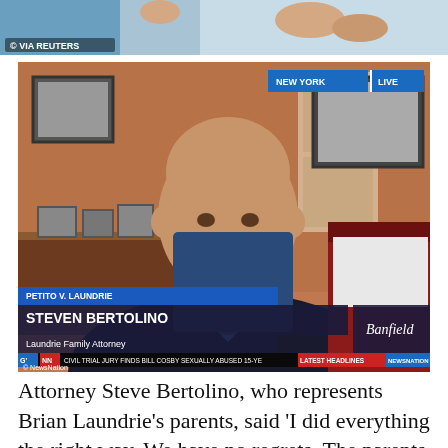[Figure (photo): Partial view of a news image at the top of the page, cropped — visible are hands/arms against a colorful background with a Reuters copyright watermark.]
[Figure (screenshot): NewsNation TV screenshot showing attorney Steven Bertolino seated at a desk in an office. Lower-third chyron reads 'PETITO V. LAUNDRIE' and 'STEVEN BERTOLINO / Laundrie Family Attorney'. Top right shows 'NEW YORK | LIVE'. Bottom ticker reads 'CIVIL TRIAL JURY FINDS BILL COSBY SEXUALLY ABUSED 15-YE / LATEST HEADLINES / NEWSNATION'. Banfield logo visible lower right. Copyright NewsNation watermark lower left.]
Attorney Steve Bertolino, who represents Brian Laundrie's parents, said 'I did everything the right way. We have no regrets. The parents did everything